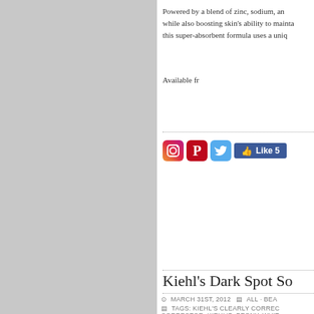Powered by a blend of zinc, sodium, and while also boosting skin's ability to mainta this super-absorbent formula uses a uniq
Available fr
[Figure (other): Social sharing icons: Instagram, Pinterest, Twitter, and Facebook Like button showing 5 likes]
Kiehl's Dark Spot So
MARCH 31ST, 2012   ALL · BEA
TAGS: KIEHL'S CLEARLY CORREC CORRECTOR, KIEHL'S, PEONY, WHIT